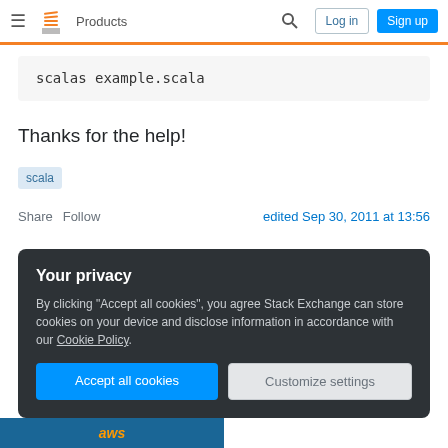Stack Overflow navigation bar with Products, Search, Log in, Sign up
scalas example.scala
Thanks for the help!
scala
Share  Follow  edited Sep 30, 2011 at 13:56
Your privacy
By clicking "Accept all cookies", you agree Stack Exchange can store cookies on your device and disclose information in accordance with our Cookie Policy.
Accept all cookies  Customize settings